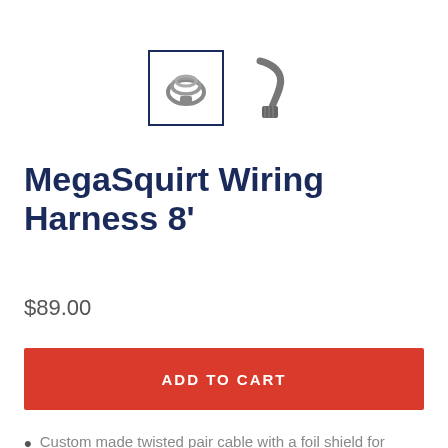[Figure (photo): Two product thumbnail images of a wiring harness cable. The left thumbnail is selected (shown with a dark blue border box) and shows a coiled gray cable. The right thumbnail shows a close-up of a gray connector end of the cable.]
MegaSquirt Wiring Harness 8'
$89.00
ADD TO CART
Custom made twisted pair cable with a foil shield for ignition input, for maximum noise